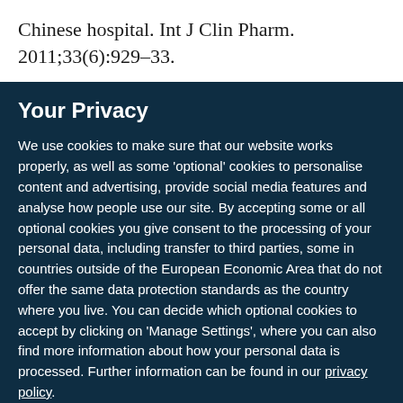Chinese hospital. Int J Clin Pharm. 2011;33(6):929–33.
Your Privacy
We use cookies to make sure that our website works properly, as well as some 'optional' cookies to personalise content and advertising, provide social media features and analyse how people use our site. By accepting some or all optional cookies you give consent to the processing of your personal data, including transfer to third parties, some in countries outside of the European Economic Area that do not offer the same data protection standards as the country where you live. You can decide which optional cookies to accept by clicking on 'Manage Settings', where you can also find more information about how your personal data is processed. Further information can be found in our privacy policy.
Accept all cookies
Manage preferences